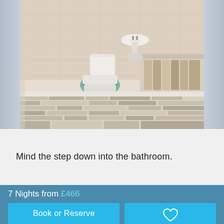[Figure (photo): Bathroom interior with toilet with teal/green seat, pedestal sink, bathtub with rustic wooden paneling, white square wall tiles, and patterned wooden plank floor in various neutral tones. Curtain panels visible on left and right edges.]
Mind the step down into the bathroom.
[Figure (photo): Partial view of another room photo at the bottom, mostly obscured by the booking bar overlay.]
7 Nights from £466
Book or Reserve
Reserve any cottage for up to 24 hours before booking